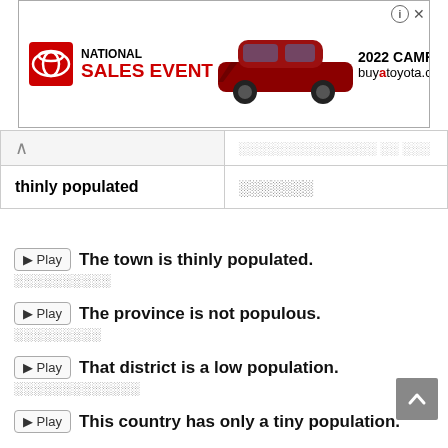[Figure (screenshot): Toyota National Sales Event advertisement banner with Toyota logo, red car image, 2022 CAMRY text, and buyatoyota.com URL]
|  |  |
| --- | --- |
|  |  |
| thinly populated | ประชากรน้อย |
▶ Play  The town is thinly populated.
เมืองที่มีประชากรน้อย
▶ Play  The province is not populous.
จังหวัดที่ไม่มีคนอาศัย
▶ Play  That district is a low population.
อำเภอที่มีประชากรน้อย
▶ Play  This country has only a tiny population.